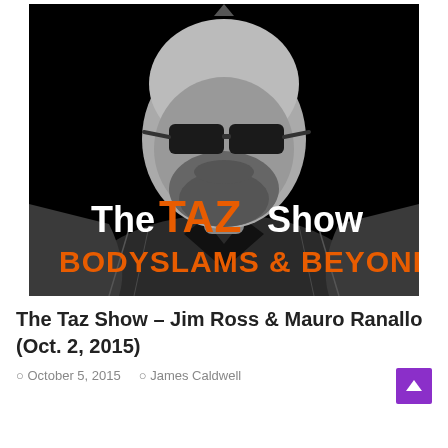[Figure (illustration): Podcast cover art for The Taz Show – Bodyslams & Beyond. A stylized black and white illustrated portrait of a heavyset bald man with a beard wearing dark sunglasses and a suit jacket. The show name 'The TAZ Show' is displayed in large type with 'TAZ' in orange and the rest in white. Below reads 'BODYSLAMS & BEYOND' in orange bold text.]
The Taz Show – Jim Ross & Mauro Ranallo (Oct. 2, 2015)
October 5, 2015   James Caldwell